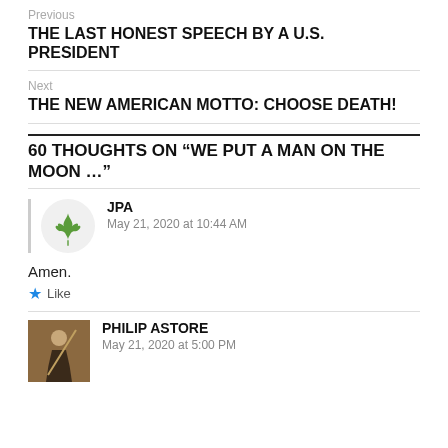Previous
THE LAST HONEST SPEECH BY A U.S. PRESIDENT
Next
THE NEW AMERICAN MOTTO: CHOOSE DEATH!
60 THOUGHTS ON “WE PUT A MAN ON THE MOON ...”
JPA
May 21, 2020 at 10:44 AM
Amen.
Like
PHILIP ASTORE
May 21, 2020 at 5:00 PM